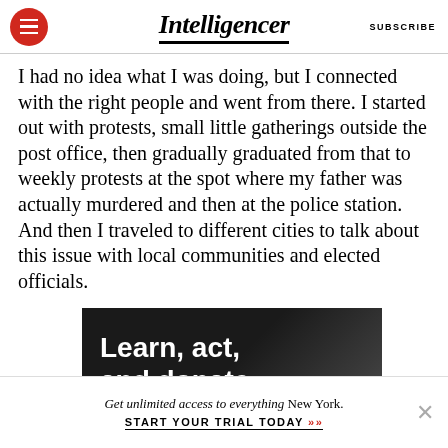Intelligencer | SUBSCRIBE
I had no idea what I was doing, but I connected with the right people and went from there. I started out with protests, small little gatherings outside the post office, then gradually graduated from that to weekly protests at the spot where my father was actually murdered and then at the police station. And then I traveled to different cities to talk about this issue with local communities and elected officials.
[Figure (other): Advertisement banner with dark gradient background showing text 'Learn, act, and donate']
Get unlimited access to everything New York.
START YOUR TRIAL TODAY »